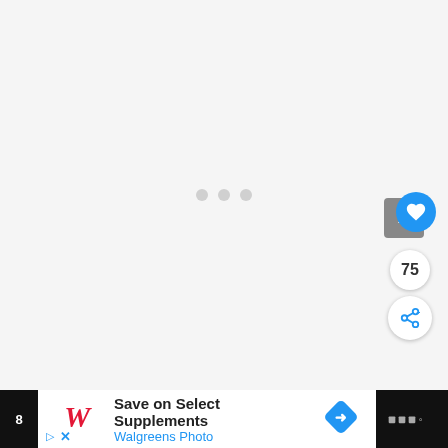[Figure (screenshot): Loading screen with three gray dots in the center on a light gray background]
[Figure (infographic): Floating action button group: gray back-to-top button, blue heart/like button, number 75 count button, and blue share button on right side]
[Figure (screenshot): Walgreens advertisement banner: 'Save on Select Supplements' with Walgreens Photo text and logo, blue navigation arrow icon on dark background bar]